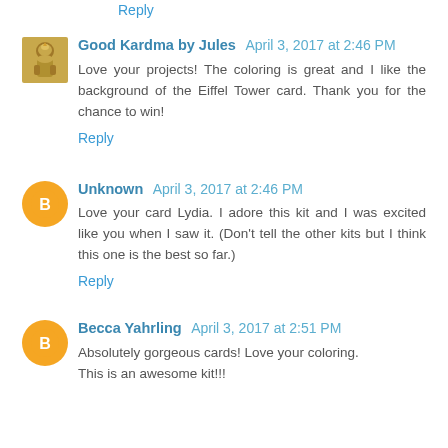Reply
Good Kardma by Jules  April 3, 2017 at 2:46 PM
Love your projects! The coloring is great and I like the background of the Eiffel Tower card. Thank you for the chance to win!
Reply
Unknown  April 3, 2017 at 2:46 PM
Love your card Lydia. I adore this kit and I was excited like you when I saw it. (Don't tell the other kits but I think this one is the best so far.)
Reply
Becca Yahrling  April 3, 2017 at 2:51 PM
Absolutely gorgeous cards! Love your coloring.
This is an awesome kit!!!